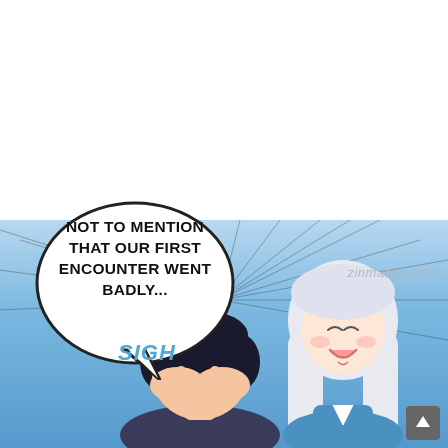[Figure (illustration): Manga/webtoon page. Top half is white background with a speech bubble containing text. Bottom half shows an anime-style scene with a blue gradient sky background. A dark-haired boy is sitting with his face in his hands, and a white-haired girl stands to his right, smiling. Sound effect 'SIGH' in blue. Watermark 'zinmanga.com' visible. Navigation arrow button at bottom right.]
NOT TO MENTION THAT OUR FIRST ENCOUNTER WENT BADLY...
SIGH
zinmanga.com